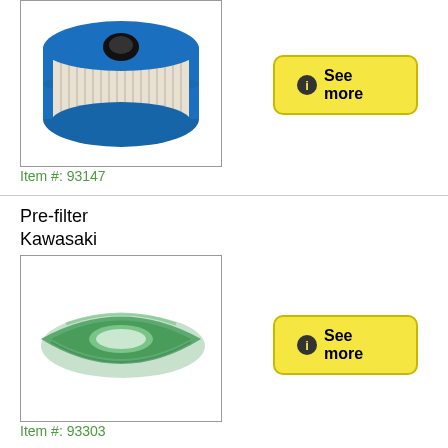[Figure (photo): Blue oval air filter with white pleated paper element and black center hole]
Item #: 93147
[Figure (other): Yellow 'See more' button with info icon (top right area)]
Pre-filter Kawasaki
[Figure (photo): Green foam pre-filter in oval/eye shape with hollow center]
Item #: 93303
[Figure (other): Yellow 'See more' button with info icon (bottom right area)]